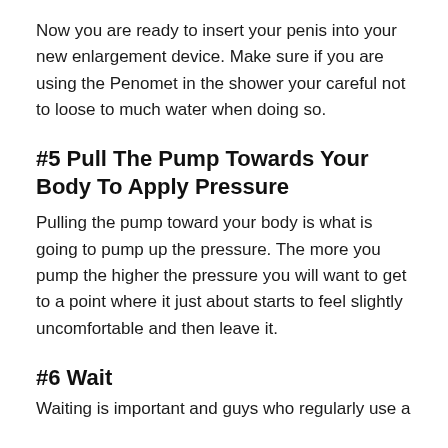Now you are ready to insert your penis into your new enlargement device. Make sure if you are using the Penomet in the shower your careful not to loose to much water when doing so.
#5 Pull The Pump Towards Your Body To Apply Pressure
Pulling the pump toward your body is what is going to pump up the pressure. The more you pump the higher the pressure you will want to get to a point where it just about starts to feel slightly uncomfortable and then leave it.
#6 Wait
Waiting is important and guys who regularly use a